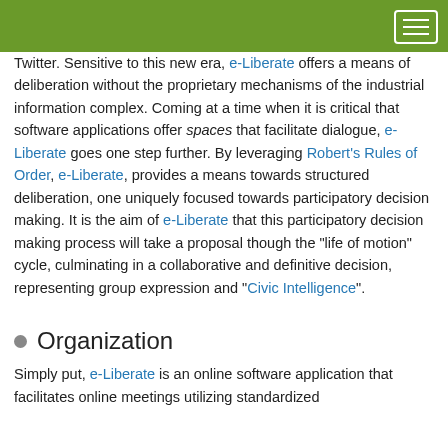Twitter. Sensitive to this new era, e-Liberate offers a means of deliberation without the proprietary mechanisms of the industrial information complex. Coming at a time when it is critical that software applications offer spaces that facilitate dialogue, e-Liberate goes one step further. By leveraging Robert's Rules of Order, e-Liberate, provides a means towards structured deliberation, one uniquely focused towards participatory decision making. It is the aim of e-Liberate that this participatory decision making process will take a proposal though the "life of motion" cycle, culminating in a collaborative and definitive decision, representing group expression and "Civic Intelligence".
Organization
Simply put, e-Liberate is an online software application that facilitates online meetings utilizing standardized